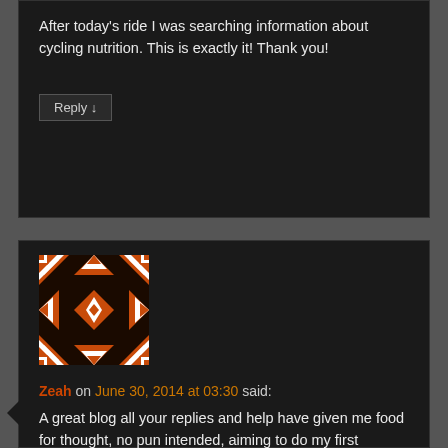After today's ride I was searching information about cycling nutrition. This is exactly it! Thank you!
Reply ↓
[Figure (illustration): Abstract geometric avatar image with orange and white diamond/triangle pattern on dark background]
Zeah on June 30, 2014 at 03:30 said:
A great blog all your replies and help have given me food for thought, no pun intended, aiming to do my first Triathlon in 2 weeks time and worried about nutrition and what to eat, this has given me a great start… I am also a coeliac so have to find energy bars with no wheat in, not easy as the only ones on the shelves are coated in chocolate, not good, so making my own to carry on the running and cycling phases . Thank you x